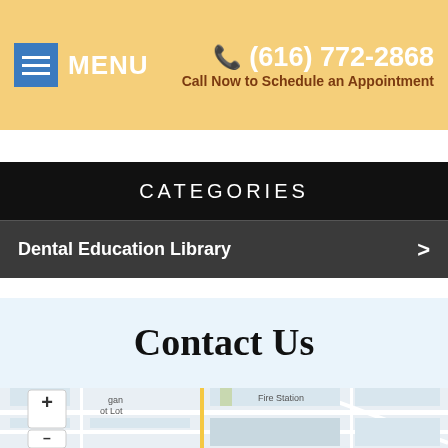MENU  (616) 772-2868  Call Now to Schedule an Appointment
CATEGORIES
Dental Education Library
Contact Us
[Figure (map): Street map showing location near Fire Station with zoom controls (+/-)]